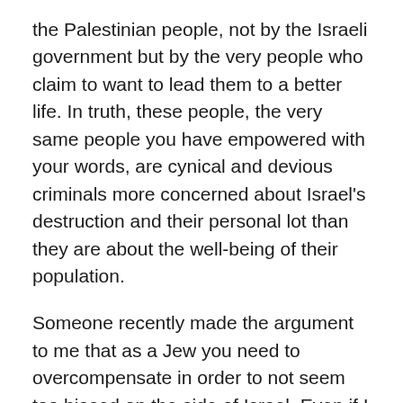the Palestinian people, not by the Israeli government but by the very people who claim to want to lead them to a better life.  In truth, these people, the very same people you have empowered with your words, are cynical and devious criminals more concerned about Israel's destruction and their personal lot than they are about the well-being of their population.
Someone recently made the argument to me that as a Jew you need to overcompensate in order to not seem too biased on the side of Israel.  Even if I do believe that is what you were doing, the question that needs to be asked is, at what cost?  Your words mean something.  If you want to be the leader of the free world, why would you take the side of an organization that not only wants to destroy the freedom of the people of your origin, but